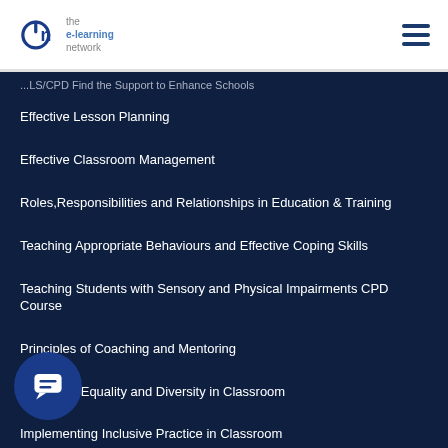eln the e-learning network
...LS/CPD Find the Support to Enhance Schools
Effective Lesson Planning
Effective Classroom Management
Roles,Responsibilities and Relationships in Education & Training
Teaching Appropriate Behaviours and Effective Coping Skills
Teaching Students with Sensory and Physical Impairments CPD Course
Principles of Coaching and Mentoring
Managing Equality and Diversity in Classroom
Implementing Inclusive Practice in Classroom
...g Learners with Different Learning Styles
Stages of Teacher Training Cycle